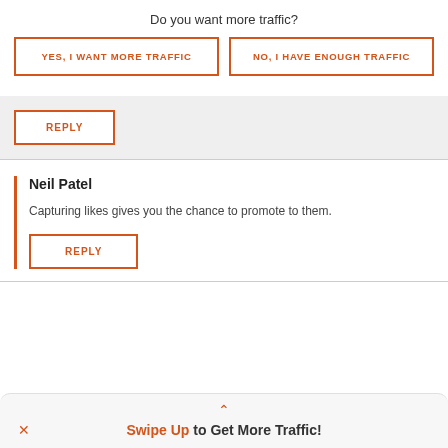Do you want more traffic?
YES, I WANT MORE TRAFFIC
NO, I HAVE ENOUGH TRAFFIC
REPLY
Neil Patel
Capturing likes gives you the chance to promote to them.
REPLY
Swipe Up to Get More Traffic!